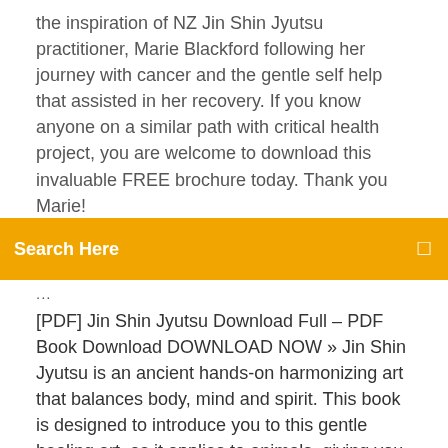the inspiration of NZ Jin Shin Jyutsu practitioner, Marie Blackford following her journey with cancer and the gentle self help that assisted in her recovery. If you know anyone on a similar path with critical health project, you are welcome to download this invaluable FREE brochure today. Thank you Marie! ♥
Search Here
...
[PDF] Jin Shin Jyutsu Download Full – PDF Book Download DOWNLOAD NOW » Jin Shin Jyutsu is an ancient hands-on harmonizing art that balances body, mind and spirit. This book is designed to introduce you to this gentle healing art, as it applies to animals, giving you the knowledge to share it with them. Jin Shin Jyutsu 2 | Psychology & Cognitive Science ... JIN Man of Knowing and Compassion SHIN Creator JYUTSU Art Art of the Creator through Man of Knowing and Compassion This flyer you are receiving is from the headquarters of Jin Shin Jyutsu, Inc. in